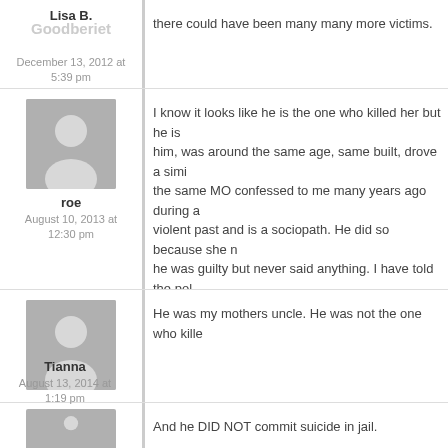there could have been many many more victims.
Lisa B. / Goodberiet — December 13, 2012 at 5:39 pm
I know it looks like he is the one who killed her but he is not. Someone, very similar to him, was around the same age, same built, drove a similar vehicle and used the same MO confessed to me many years ago during a relationship. He has a violent past and is a sociopath. He did so because she meant something and he was guilty but never said anything. I have told the police but they did nothing about it. They have zeroed in on this guy only because of the DNA. I have thought of contacting her family but was reluctant to open any wounds until this day.
roe — August 10, 2013 at 12:30 pm
He was my mothers uncle. He was not the one who kille
Tianna — August 13, 2014 at 1:19 pm
And he DID NOT commit suicide in jail.